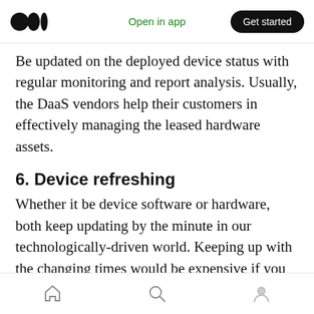Open in app | Get started
Be updated on the deployed device status with regular monitoring and report analysis. Usually, the DaaS vendors help their customers in effectively managing the leased hardware assets.
6. Device refreshing
Whether it be device software or hardware, both keep updating by the minute in our technologically-driven world. Keeping up with the changing times would be expensive if you go for the traditional method of buying the devices. With DaaS, device refreshing is easier at a
Home | Search | Profile